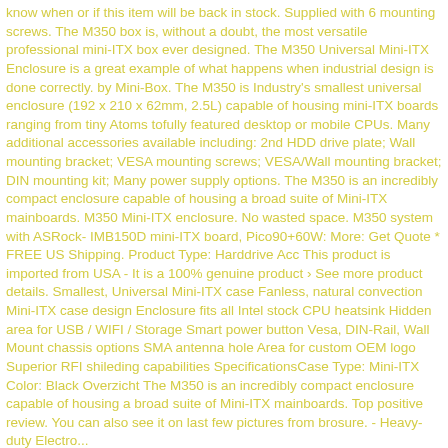know when or if this item will be back in stock. Supplied with 6 mounting screws. The M350 box is, without a doubt, the most versatile professional mini-ITX box ever designed. The M350 Universal Mini-ITX Enclosure is a great example of what happens when industrial design is done correctly. by Mini-Box. The M350 is Industry's smallest universal enclosure (192 x 210 x 62mm, 2.5L) capable of housing mini-ITX boards ranging from tiny Atoms tofully featured desktop or mobile CPUs. Many additional accessories available including: 2nd HDD drive plate; Wall mounting bracket; VESA mounting screws; VESA/Wall mounting bracket; DIN mounting kit; Many power supply options. The M350 is an incredibly compact enclosure capable of housing a broad suite of Mini-ITX mainboards. M350 Mini-ITX enclosure. No wasted space. M350 system with ASRock- IMB150D mini-ITX board, Pico90+60W: More: Get Quote * FREE US Shipping. Product Type: Harddrive Acc This product is imported from USA - It is a 100% genuine product › See more product details. Smallest, Universal Mini-ITX case Fanless, natural convection Mini-ITX case design Enclosure fits all Intel stock CPU heatsink Hidden area for USB / WIFI / Storage Smart power button Vesa, DIN-Rail, Wall Mount chassis options SMA antenna hole Area for custom OEM logo Superior RFI shileding capabilities SpecificationsCase Type: Mini-ITX Color: Black Overzicht The M350 is an incredibly compact enclosure capable of housing a broad suite of Mini-ITX mainboards. Top positive review. You can also see it on last few pictures from brosure. - Heavy-duty Electro...